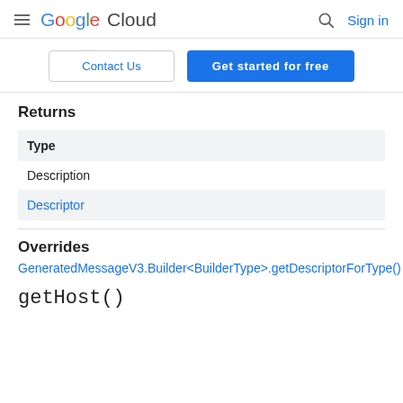Google Cloud  Sign in
Contact Us  Get started for free
Returns
| Type | Description |
| --- | --- |
| Descriptor |  |
Overrides
GeneratedMessageV3.Builder<BuilderType>.getDescriptorForType()
getHost()